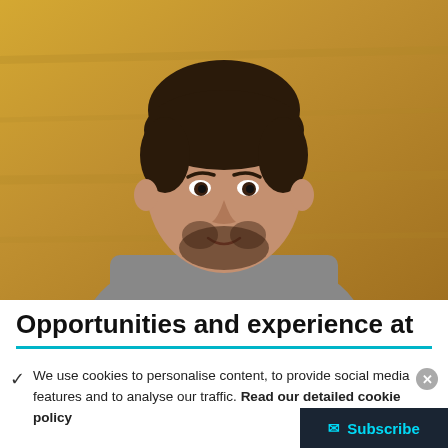[Figure (photo): Portrait photo of a young man with dark short hair and a beard, wearing a grey t-shirt, smiling slightly, with a blurred warm-toned wooden background.]
Opportunities and experience at
✓  We use cookies to personalise content, to provide social media features and to analyse our traffic. Read our detailed cookie policy
✕ (close button)
✉ Subscribe